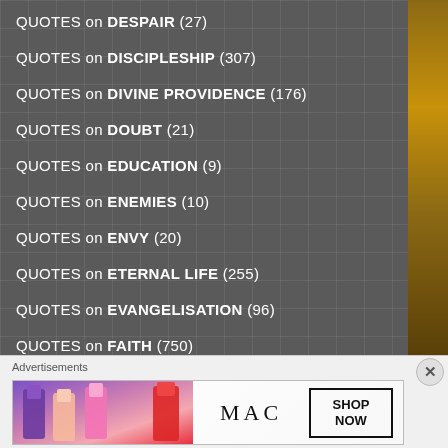QUOTES on DESPAIR (27)
QUOTES on DISCIPLESHIP (307)
QUOTES on DIVINE PROVIDENCE (176)
QUOTES on DOUBT (21)
QUOTES on EDUCATION (9)
QUOTES on ENEMIES (10)
QUOTES on ENVY (20)
QUOTES on ETERNAL LIFE (255)
QUOTES on EVANGELISATION (96)
QUOTES on FAITH (750)
QUOTES on FASTING (50)
Advertisements
[Figure (photo): MAC cosmetics advertisement showing colorful lipsticks and a SHOP NOW call-to-action box]